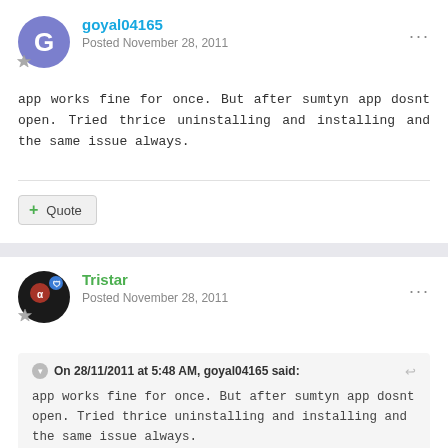goyal04165 — Posted November 28, 2011
app works fine for once. But after sumtyn app dosnt open. Tried thrice uninstalling and installing and the same issue always.
Quote
Tristar — Posted November 28, 2011
On 28/11/2011 at 5:48 AM, goyal04165 said:
app works fine for once. But after sumtyn app dosnt open. Tried thrice uninstalling and installing and the same issue always.